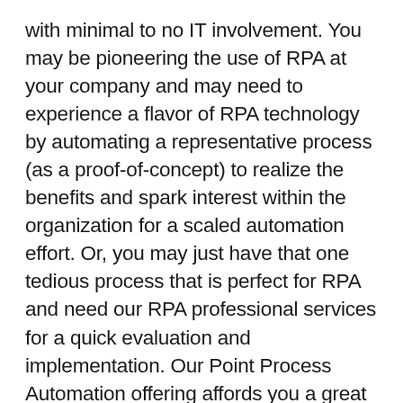with minimal to no IT involvement. You may be pioneering the use of RPA at your company and may need to experience a flavor of RPA technology by automating a representative process (as a proof-of-concept) to realize the benefits and spark interest within the organization for a scaled automation effort. Or, you may just have that one tedious process that is perfect for RPA and need our RPA professional services for a quick evaluation and implementation. Our Point Process Automation offering affords you a great deal of flexibility in choosing which business scenario to target as the working pilot. Based on our experience implementing high-value and rapid-return solutions, we'll work closely with you to determine the scenario that makes the most sense for your organization, implement and deploy it. We can also work with you to provide recommendations for consolidation with